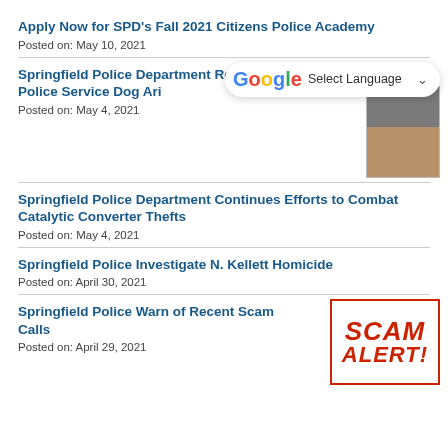Apply Now for SPD's Fall 2021 Citizens Police Academy
Posted on: May 10, 2021
Springfield Police Department Remembers Police Service Dog Ari
Posted on: May 4, 2021
Springfield Police Department Continues Efforts to Combat Catalytic Converter Thefts
Posted on: May 4, 2021
Springfield Police Investigate N. Kellett Homicide
Posted on: April 30, 2021
Springfield Police Warn of Recent Scam Calls
Posted on: April 29, 2021